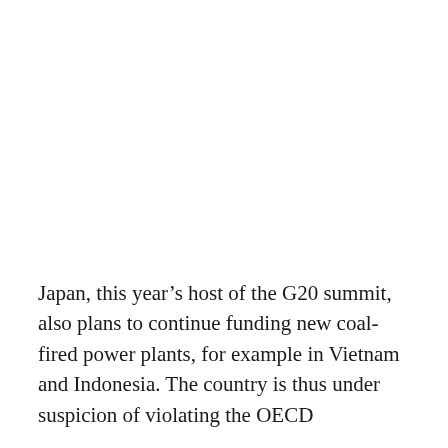Japan, this year’s host of the G20 summit, also plans to continue funding new coal-fired power plants, for example in Vietnam and Indonesia. The country is thus under suspicion of violating the OECD